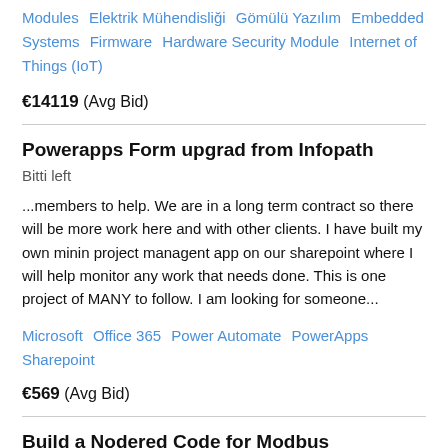Modules   Elektrik Mühendisliği   Gömülü Yazılım   Embedded Systems   Firmware   Hardware Security Module   Internet of Things (IoT)
€14119  (Avg Bid)
Powerapps Form upgrad from Infopath   Bitti left
...members to help. We are in a long term contract so there will be more work here and with other clients. I have built my own minin project managent app on our sharepoint where I will help monitor any work that needs done. This is one project of MANY to follow. I am looking for someone...
Microsoft   Office 365   Power Automate   PowerApps   Sharepoint
€569  (Avg Bid)
Build a Nodered Code for Modbus communications   Bitti left